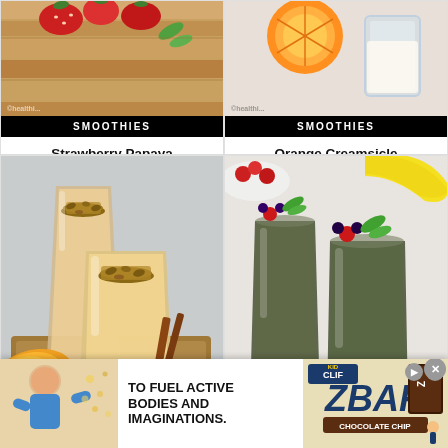[Figure (photo): Strawberry Papaya Smoothie - glasses with strawberries on wooden board]
Strawberry Papaya Smoothie Recipe
[Figure (photo): Orange Creamsicle Smoothie - glasses with orange slices]
Orange Creamsicle Smoothie Recipe
[Figure (photo): Mango smoothie in two glasses with nut topping and mango slices]
[Figure (photo): Green smoothie in two glasses garnished with berries and mint, with banana and strawberries in background]
[Figure (photo): Advertisement banner: child eating, text TO FUEL ACTIVE BODIES AND IMAGINATIONS, CLIF Kid Z BAR chocolate chip]